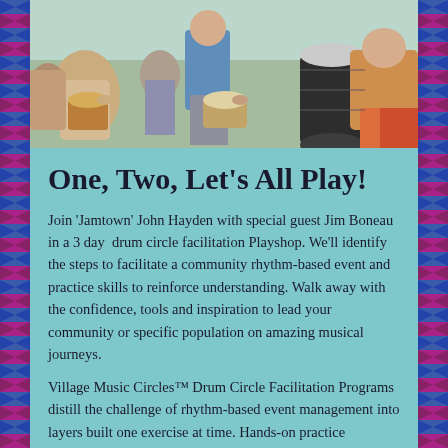[Figure (photo): Group of people playing drums and percussion instruments including djembe and conga drums at an outdoor drum circle event]
One, Two, Let's All Play!
Join 'Jamtown' John Hayden with special guest Jim Boneau in a 3 day  drum circle facilitation Playshop. We'll identify the steps to facilitate a community rhythm-based event and practice skills to reinforce understanding. Walk away with the confidence, tools and inspiration to lead your community or specific population on amazing musical journeys.
Village Music Circles™ Drum Circle Facilitation Programs distill the challenge of rhythm-based event management into layers built one exercise at time. Hands-on practice